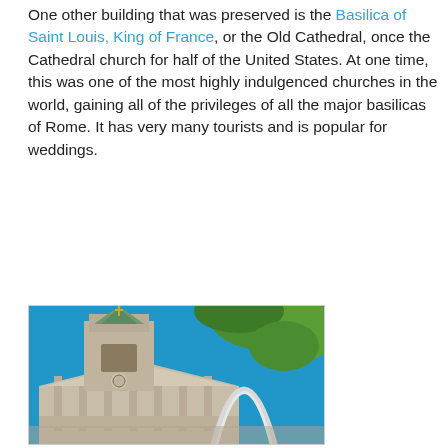One other building that was preserved is the Basilica of Saint Louis, King of France, or the Old Cathedral, once the Cathedral church for half of the United States. At one time, this was one of the most highly indulgenced churches in the world, gaining all of the privileges of all the major basilicas of Rome. It has very many tourists and is popular for weddings.
[Figure (photo): Photograph of the Basilica of Saint Louis (Old Cathedral) with its stone bell tower topped by a green copper spire and gold cross, with the Gateway Arch visible in the background against a bright blue sky, and green tree branches visible in the upper right corner.]